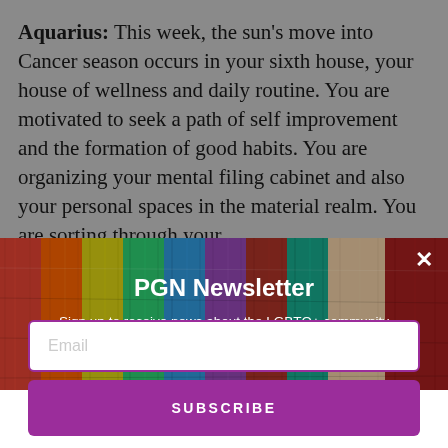Aquarius: This week, the sun's move into Cancer season occurs in your sixth house, your house of wellness and daily routine. You are motivated to seek a path of self improvement and the formation of good habits. You are organizing your mental filing cabinet and also your personal spaces in the material realm. You are sorting through your
[Figure (photo): Colorful painted wooden fence planks in rainbow colors (red, orange, yellow, green, blue, purple, teal, beige, dark red) serving as background for a newsletter popup modal]
PGN Newsletter
Sign up to receive news about the LGBTQ+ community delivered weekly to your inbox.
Email
SUBSCRIBE